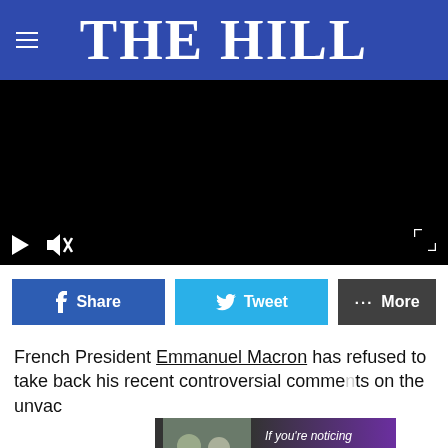THE HILL
[Figure (screenshot): Black video player with play button, mute icon, and fullscreen icon controls]
Share   Tweet   More
French President Emmanuel Macron has refused to take back his recent controversial comments on the unvac…
[Figure (photo): Advertisement overlay showing two men and text: If you're noticing changes, it could be Alzheimer's. Visit a doctor together.]